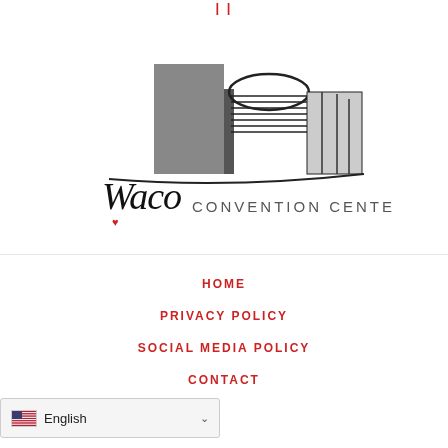[Figure (logo): Waco Convention Center logo with building silhouette illustration and stylized script 'Waco' with a red heart, and 'CONVENTION CENTER' in spaced capital letters]
HOME
PRIVACY POLICY
SOCIAL MEDIA POLICY
CONTACT
English